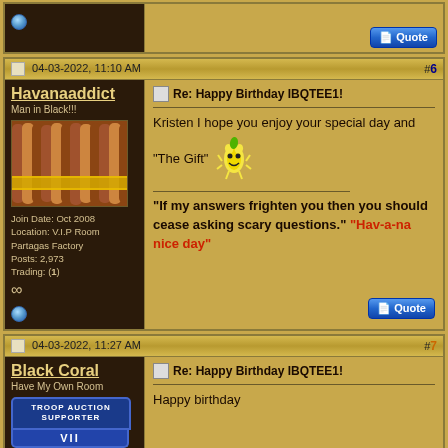Online indicator + Quote button (partial top post)
04-03-2022, 11:10 AM #6
Havanaaddict
Man in Black!!!
Join Date: Oct 2008
Location: V.I.P Room Partagas Factory
Posts: 2,973
Trading: (1)
Re: Happy Birthday IBQTEE1!
Kristen I hope you enjoy your special day and "The Gift"
"If my answers frighten you then you should cease asking scary questions." "Hav-a-na nice day"
04-03-2022, 11:27 AM #7
Black Coral
Have My Own Room
TROOP AUCTION SUPPORTER
Re: Happy Birthday IBQTEE1!
Happy birthday